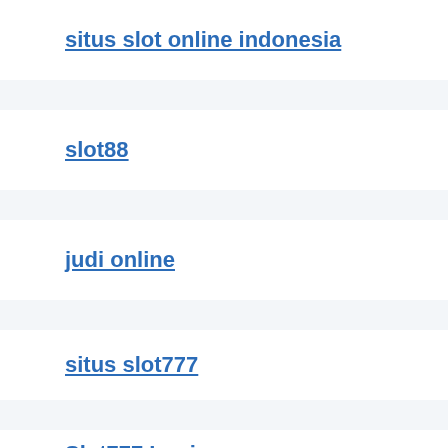situs slot online indonesia
slot88
judi online
situs slot777
Slot777 Login